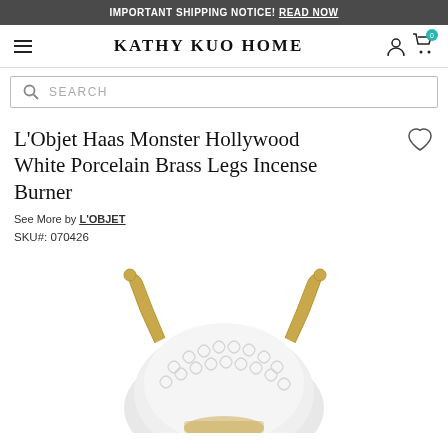IMPORTANT SHIPPING NOTICE! READ NOW
KATHY KUO HOME
SEARCH
L'Objet Haas Monster Hollywood White Porcelain Brass Legs Incense Burner
See More by L'OBJET
SKU#: 070426
[Figure (photo): Close-up photo of an L'Objet Haas Monster figurine with white textured porcelain body covered in rose-like swirls and gold/brass horns, partially visible from the top of the frame.]